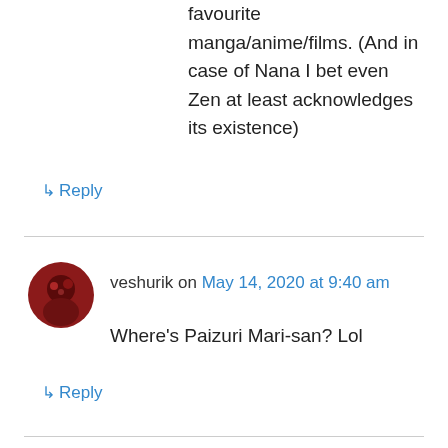favourite manga/anime/films. (And in case of Nana I bet even Zen at least acknowledges its existence)
↳ Reply
veshurik on May 14, 2020 at 9:40 am
Where's Paizuri Mari-san? Lol
↳ Reply
[Figure (illustration): Anime chibi character with blonde twin tails wearing a red outfit, smiling with eyes closed]